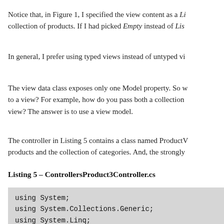Notice that, in Figure 1, I specified the view content as a Li collection of products. If I had picked Empty instead of Lis
In general, I prefer using typed views instead of untyped vi
The view data class exposes only one Model property. So w to a view? For example, how do you pass both a collection view? The answer is to use a view model.
The controller in Listing 5 contains a class named ProductV products and the collection of categories. And, the strongly
Listing 5 – ControllersProduct3Controller.cs
using System;
using System.Collections.Generic;
using System.Linq;
using System.Web;
using System.Web.Mvc;